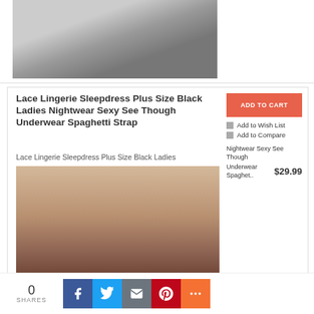[Figure (photo): Product photo showing a person wearing black lace bodysuit lingerie, cropped view from waist down]
Lace Lingerie Sleepdress Plus Size Black Ladies Nightwear Sexy See Though Underwear Spaghetti Strap
Lace Lingerie Sleepdress Plus Size Black Ladies
[Figure (photo): Blonde woman wearing black lace sleepdress lingerie, seated in front of brick wall background]
ADD TO CART
Add to Wish List
Add to Compare
Nightwear Sexy See Though Underwear Spaghet..
$29.99
0
SHARES